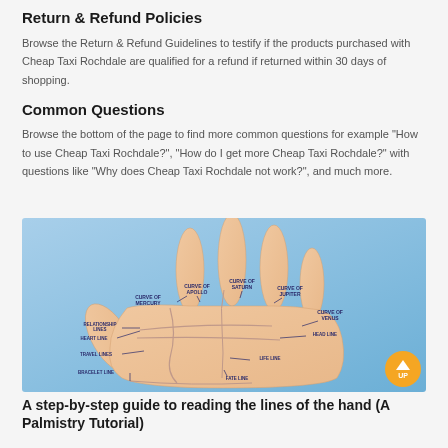Return & Refund Policies
Browse the Return & Refund Guidelines to testify if the products purchased with Cheap Taxi Rochdale are qualified for a refund if returned within 30 days of shopping.
Common Questions
Browse the bottom of the page to find more common questions for example "How to use Cheap Taxi Rochdale?", "How do I get more Cheap Taxi Rochdale?" with questions like "Why does Cheap Taxi Rochdale not work?", and much more.
[Figure (illustration): Diagram of a human hand (palmistry) with labeled lines and curves including: Curve of Mercury, Curve of Apollo, Curve of Saturn, Curve of Jupiter, Curve of Venus, Relationship Lines, Heart Line, Head Line, Life Line, Travel Lines, Fate Line, Bracelet Line]
A step-by-step guide to reading the lines of the hand (A Palmistry Tutorial)